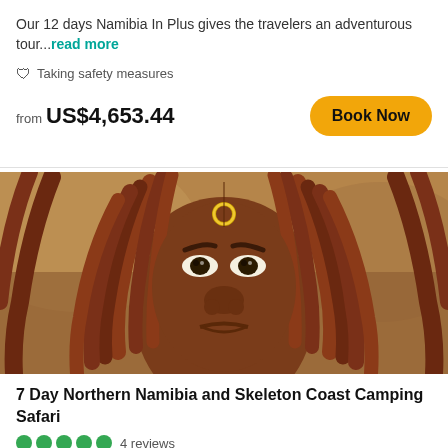Our 12 days Namibia In Plus gives the travelers an adventurous tour...read more
Taking safety measures
from US$4,653.44
[Figure (photo): Close-up portrait of a Himba woman with ochre-coated dreadlocks and a gold ring on her forehead, looking directly at the camera with a serious expression.]
7 Day Northern Namibia and Skeleton Coast Camping Safari
4 reviews